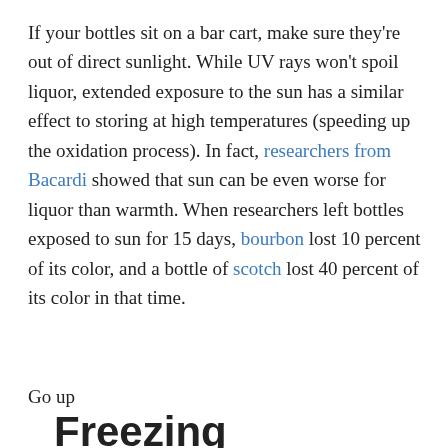If your bottles sit on a bar cart, make sure they're out of direct sunlight. While UV rays won't spoil liquor, extended exposure to the sun has a similar effect to storing at high temperatures (speeding up the oxidation process). In fact, researchers from Bacardi showed that sun can be even worse for liquor than warmth. When researchers left bottles exposed to sun for 15 days, bourbon lost 10 percent of its color, and a bottle of scotch lost 40 percent of its color in that time.
Go up
Freezing